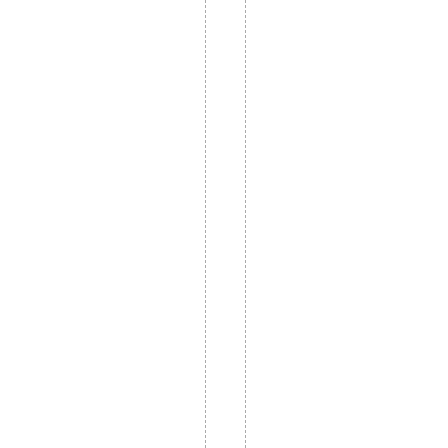Joyce .USF LIBRARY - PolytechniCi